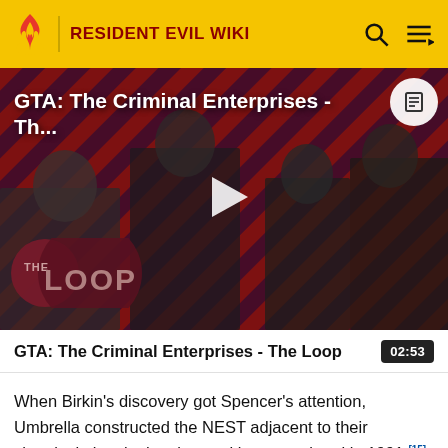RESIDENT EVIL WIKI
[Figure (screenshot): Video thumbnail for 'GTA: The Criminal Enterprises - Th...' showing GTA Online characters on a red diagonal striped background with 'THE LOOP' logo overlay and a play button in the center.]
GTA: The Criminal Enterprises - The Loop  02:53
When Birkin's discovery got Spencer's attention, Umbrella constructed the NEST adjacent to their chemical plant in the city outskirts, completed in 1991.[15] There, Birkin was